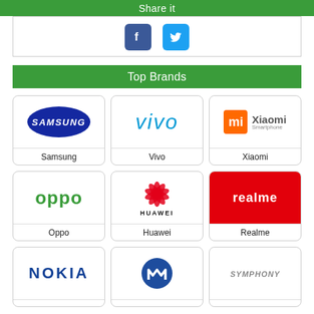Share it
[Figure (other): Share it section with Facebook and Twitter icon buttons]
Top Brands
[Figure (other): Grid of phone brand logos: Samsung, Vivo, Xiaomi, Oppo, Huawei, Realme, Nokia, Motorola, Symphony]
Samsung
Vivo
Xiaomi
Oppo
Huawei
Realme
Nokia
Motorola
Symphony